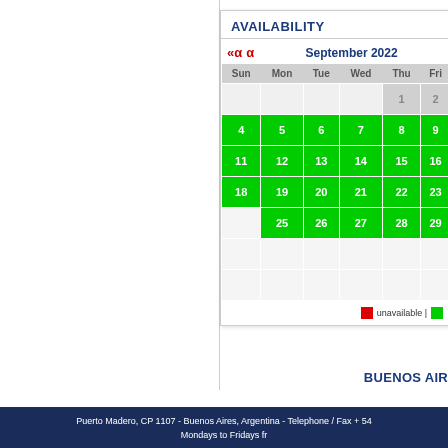AVAILABILITY
[Figure (other): Availability calendar for September 2022 showing days 4-30 highlighted in green (available), days 1-2 in grey, with navigation arrows and month title. Legend shows red=unavailable, green=available.]
unavailable |
BUENOS AIR
Puerto Madero, CP 1107 - Buenos Aires, Argentina - Telephone / Fax + 54
Mondays to Fridays fr